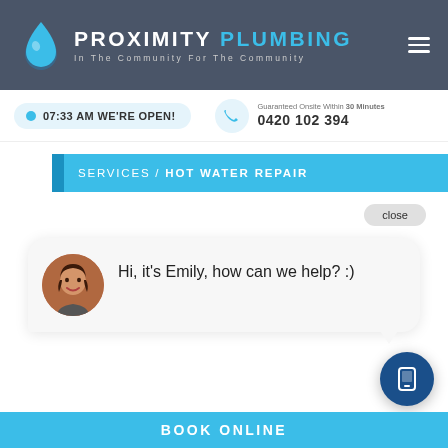[Figure (logo): Proximity Plumbing logo with water drop icon, company name in white and blue, tagline 'In The Community For The Community']
07:33 AM WE'RE OPEN!
Guaranteed Onsite Within 30 Minutes
0420 102 394
SERVICES / HOT WATER REPAIR
close
Hi, it's Emily, how can we help? :)
BOOK ONLINE